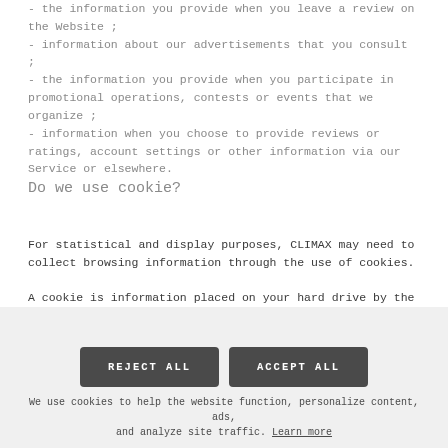- the information you provide when you leave a review on the Website ; - information about our advertisements that you consult ; - the information you provide when you participate in promotional operations, contests or events that we organize ; - information when you choose to provide reviews or ratings, account settings or other information via our Service or elsewhere.
Do we use cookie?
For statistical and display purposes, CLIMAX may need to collect browsing information through the use of cookies.
A cookie is information placed on your hard drive by the server of the site you are visiting. It contains several
We use cookies to help the website function, personalize content, ads, and analyze site traffic. Learn more